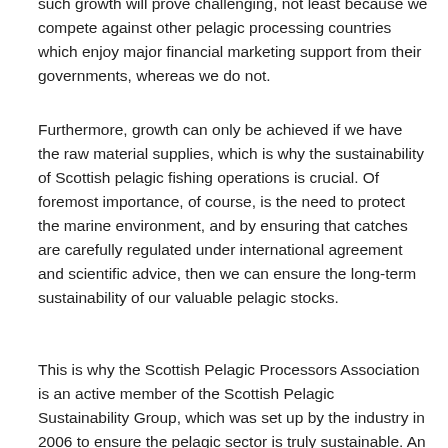such growth will prove challenging, not least because we compete against other pelagic processing countries which enjoy major financial marketing support from their governments, whereas we do not.
Furthermore, growth can only be achieved if we have the raw material supplies, which is why the sustainability of Scottish pelagic fishing operations is crucial. Of foremost importance, of course, is the need to protect the marine environment, and by ensuring that catches are carefully regulated under international agreement and scientific advice, then we can ensure the long-term sustainability of our valuable pelagic stocks.
This is why the Scottish Pelagic Processors Association is an active member of the Scottish Pelagic Sustainability Group, which was set up by the industry in 2006 to ensure the pelagic sector is truly sustainable. An over-riding aim was to achieve the